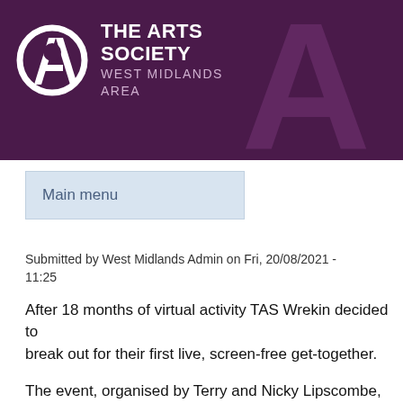[Figure (logo): The Arts Society West Midlands Area logo — white stylised letter A on dark purple/maroon banner background with decorative large A shape on right side]
Main menu
Submitted by West Midlands Admin on Fri, 20/08/2021 - 11:25
After 18 months of virtual activity TAS Wrekin decided to break out for their first live, screen-free get-together.
The event, organised by Terry and Nicky Lipscombe, was held on Monday 9 August courtesy of the Ironbridge